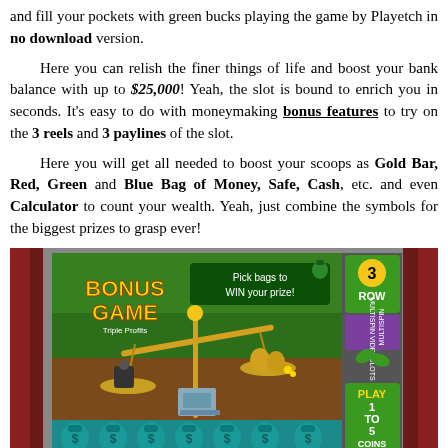and fill your pockets with green bucks playing the game by Playetch in no download version.

Here you can relish the finer things of life and boost your bank balance with up to $25,000! Yeah, the slot is bound to enrich you in seconds. It's easy to do with moneymaking bonus features to try on the 3 reels and 3 paylines of the slot.

Here you will get all needed to boost your scoops as Gold Bar, Red, Green and Blue Bag of Money, Safe, Cash, etc. and even Calculator to count your wealth. Yeah, just combine the symbols for the biggest prizes to grasp ever!
[Figure (screenshot): Screenshot of a slot game bonus game screen titled 'BONUS GAME Triple Profits'. Shows a golden scales of justice with bags on each side, text 'Pick bags to WIN your prize!', teal money bags along the bottom, and a side panel showing '3 ROW MULTISPIN VIDEOSLOTS' and 'PLAY 1 TO 5 COINS'.]